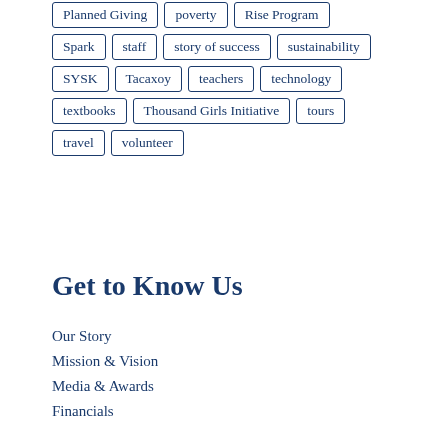Planned Giving
poverty
Rise Program
Spark
staff
story of success
sustainability
SYSK
Tacaxoy
teachers
technology
textbooks
Thousand Girls Initiative
tours
travel
volunteer
Get to Know Us
Our Story
Mission & Vision
Media & Awards
Financials